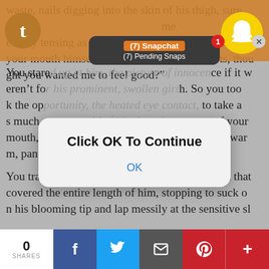waste, nails digging into the skin of his thigh, sure
bout
e body tensing as he held back the urge to fuck into
your mouth himself. “Don’t be so cruel, sweets, thou
ght you wanted me to feel good?”
[Figure (screenshot): Snapchat notification overlay showing '(7) Snapchat' and '(7) Pending Snaps' with Snapchat ghost icon and red badge showing 1]
You stared up at him, the picture of innocence if it w
eren’t for his prominent, swollen girth. So you took
k the opportunity, the heated eye contact, to take a
s much as you could of him into the wetness of your
mouth, almost gagging before you pulled back, war
m, panting breaths caressing him.
[Figure (screenshot): Modal dialog box with text 'Click OK To Continue' and OK button]
You traced your tongue against the bulging vein that
covered the entire length of him, stopping to suck o
n his blooming tip and lap messily at the sensitive sl
[Figure (screenshot): Social sharing bottom bar with 0 SHARES, Facebook, Twitter, Email, Pinterest, and Plus buttons]